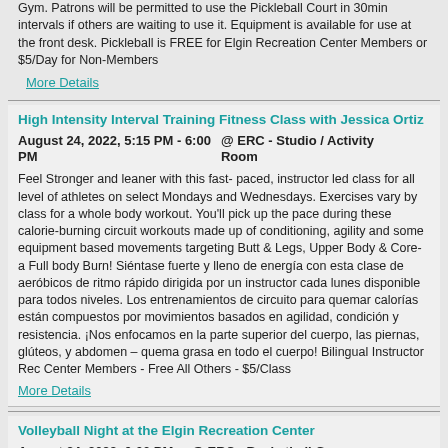Gym. Patrons will be permitted to use the Pickleball Court in 30min intervals if others are waiting to use it. Equipment is available for use at the front desk. Pickleball is FREE for Elgin Recreation Center Members or $5/Day for Non-Members
More Details
High Intensity Interval Training Fitness Class with Jessica Ortiz
August 24, 2022, 5:15 PM - 6:00 PM    @ ERC - Studio / Activity Room
Feel Stronger and leaner with this fast- paced, instructor led class for all level of athletes on select Mondays and Wednesdays. Exercises vary by class for a whole body workout. You'll pick up the pace during these calorie-burning circuit workouts made up of conditioning, agility and some equipment based movements targeting Butt & Legs, Upper Body & Core- a Full body Burn! Siéntase fuerte y lleno de energía con esta clase de aeróbicos de ritmo rápido dirigida por un instructor cada lunes disponible para todos niveles. Los entrenamientos de circuito para quemar calorías están compuestos por movimientos basados en agilidad, condición y resistencia. ¡Nos enfocamos en la parte superior del cuerpo, las piernas, glúteos, y abdomen – quema grasa en todo el cuerpo! Bilingual Instructor Rec Center Members - Free All Others - $5/Class
More Details
Volleyball Night at the Elgin Recreation Center
August 24, 2022, 6:00 PM - 8:00 PM    @ ERC - Basketball Gym (uncarpeted)